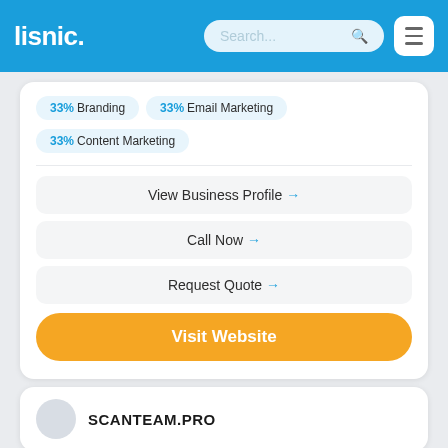lisnic. Search... [hamburger menu]
33% Branding
33% Email Marketing
33% Content Marketing
View Business Profile →
Call Now →
Request Quote →
Visit Website
SCANTEAM.PRO